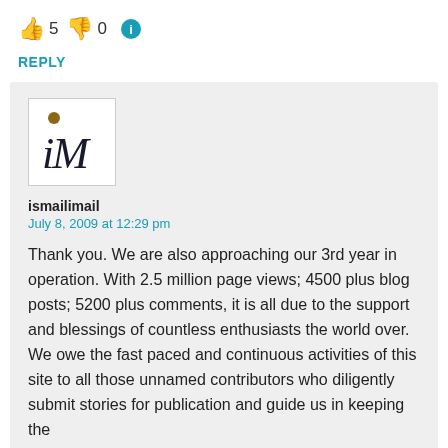👍 5 👎 0 ℹ
REPLY
[Figure (other): User avatar showing 'IM' logo with a small decorative dot above the I]
ismailimail
July 8, 2009 at 12:29 pm
Thank you. We are also approaching our 3rd year in operation. With 2.5 million page views; 4500 plus blog posts; 5200 plus comments, it is all due to the support and blessings of countless enthusiasts the world over. We owe the fast paced and continuous activities of this site to all those unnamed contributors who diligently submit stories for publication and guide us in keeping the quality of content...